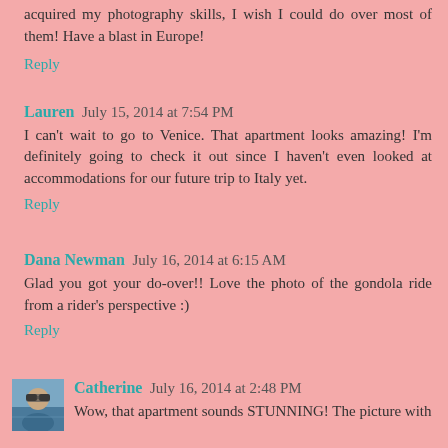acquired my photography skills, I wish I could do over most of them! Have a blast in Europe!
Reply
Lauren July 15, 2014 at 7:54 PM
I can't wait to go to Venice. That apartment looks amazing! I'm definitely going to check it out since I haven't even looked at accommodations for our future trip to Italy yet.
Reply
Dana Newman July 16, 2014 at 6:15 AM
Glad you got your do-over!! Love the photo of the gondola ride from a rider's perspective :)
Reply
[Figure (photo): Small avatar photo of Catherine, a person wearing sunglasses outdoors]
Catherine July 16, 2014 at 2:48 PM
Wow, that apartment sounds STUNNING! The picture with